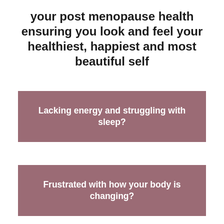your post menopause health ensuring you look and feel your healthiest, happiest and most beautiful self
Lacking energy and struggling with sleep?
Frustrated with how your body is changing?
Dealing with new menopause issues?